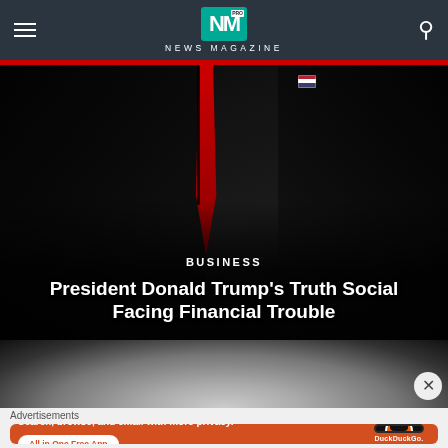NEWS MAGAZINE
[Figure (photo): Person in dark suit with red tie and American flag pin, photographed from torso up against dark background]
BUSINESS
President Donald Trump's Truth Social Facing Financial Trouble
[Figure (photo): Partial view of a second article image, showing dark background with metallic/wire texture]
Advertisements
[Figure (screenshot): DuckDuckGo advertisement banner: Search, browse, and email with more privacy. All in One Free App - showing DuckDuckGo app on a phone mockup]